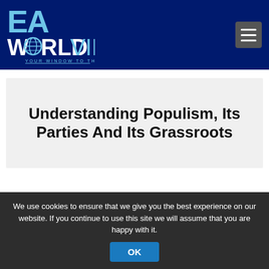[Figure (logo): EA WorldView logo — white/light blue text on dark navy background, with globe icon. Tagline: YOUR WINDOW TO THE WORLD]
Understanding Populism, Its Parties And Its Grassroots
We use cookies to ensure that we give you the best experience on our website. If you continue to use this site we will assume that you are happy with it.
OK